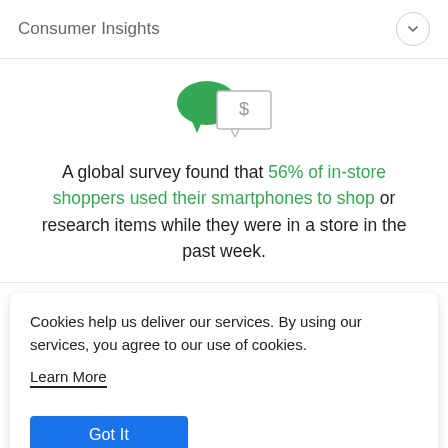Consumer Insights
[Figure (illustration): Two overlapping speech bubbles: a green filled speech bubble on the left and a white outlined speech bubble on the right containing a dollar sign ($)]
A global survey found that 56% of in-store shoppers used their smartphones to shop or research items while they were in a store in the past week.
Cookies help us deliver our services. By using our services, you agree to our use of cookies.
Learn More
Got It